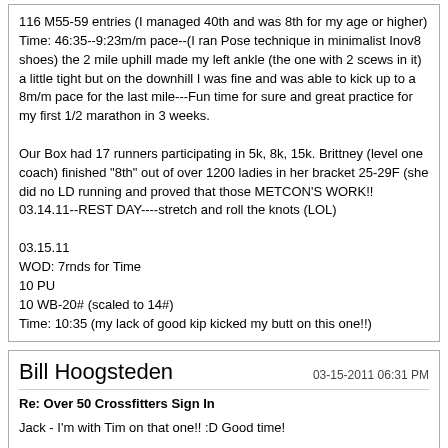116 M55-59 entries (I managed 40th and was 8th for my age or higher)
Time: 46:35--9:23m/m pace--(I ran Pose technique in minimalist Inov8 shoes) the 2 mile uphill made my left ankle (the one with 2 scews in it) a little tight but on the downhill I was fine and was able to kick up to a 8m/m pace for the last mile---Fun time for sure and great practice for my first 1/2 marathon in 3 weeks.

Our Box had 17 runners participating in 5k, 8k, 15k. Brittney (level one coach) finished "8th" out of over 1200 ladies in her bracket 25-29F (she did no LD running and proved that those METCON'S WORK!!
03.14.11--REST DAY----stretch and roll the knots (LOL)

03.15.11
WOD: 7rnds for Time
10 PU
10 WB-20# (scaled to 14#)
Time: 10:35 (my lack of good kip kicked my butt on this one!!)
Bill Hoogsteden   03-15-2011 06:31 PM
Re: Over 50 Crossfitters Sign In
Jack - I'm with Tim on that one!! :D Good time!
Tim - Great job on that 8K & that AMRAP!